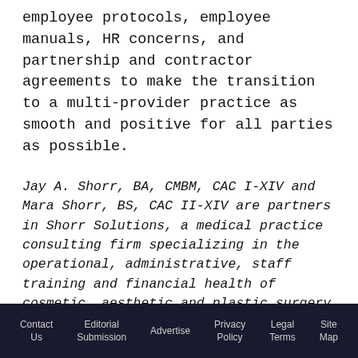employee protocols, employee manuals, HR concerns, and partnership and contractor agreements to make the transition to a multi-provider practice as smooth and positive for all parties as possible.
Jay A. Shorr, BA, CMBM, CAC I-XIV and Mara Shorr, BS, CAC II-XIV are partners in Shorr Solutions, a medical practice consulting firm specializing in the operational, administrative, staff training and financial health of cosmetic, aesthetic and plastic surgery medical practices. Contact this father-daughter team at www.ShorrSolutions.com or Info@ShorrSolutions.com.
Contact Us | Editorial Submission | Advertise | Privacy Policy | Legal Terms | Site Map